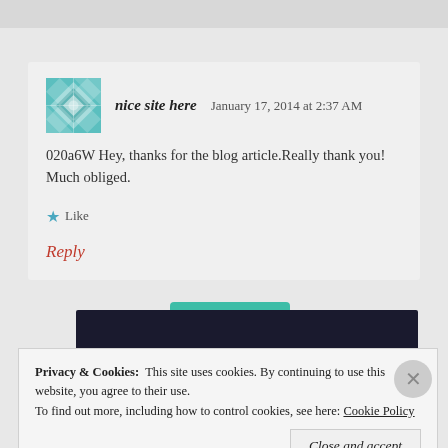nice site here   January 17, 2014 at 2:37 AM
020a6W Hey, thanks for the blog article.Really thank you! Much obliged.
Like
Reply
[Figure (screenshot): Dark banner/header area with teal tab at top]
Privacy & Cookies:  This site uses cookies. By continuing to use this website, you agree to their use. To find out more, including how to control cookies, see here: Cookie Policy
Close and accept